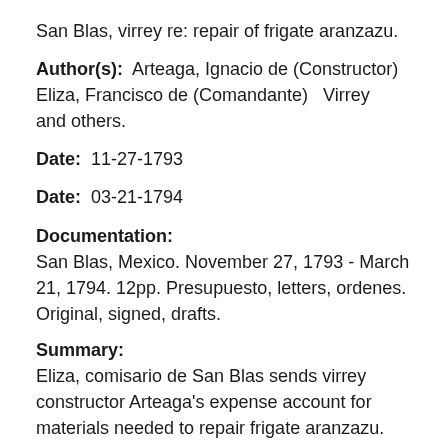San Blas, virrey re: repair of frigate aranzazu.
Author(s): Arteaga, Ignacio de (Constructor) Eliza, Francisco de (Comandante) Virrey and others.
Date: 11-27-1793
Date: 03-21-1794
Documentation: San Blas, Mexico. November 27, 1793 - March 21, 1794. 12pp. Presupuesto, letters, ordenes. Original, signed, drafts.
Summary: Eliza, comisario de San Blas sends virrey constructor Arteaga's expense account for materials needed to repair frigate aranzazu.